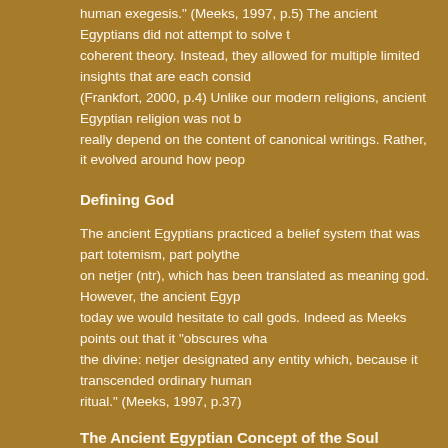human exegesis." (Meeks, 1997, p.5) The ancient Egyptians did not attempt to solve the coherent theory. Instead, they allowed for multiple limited insights that are each considered (Frankfort, 2000, p.4) Unlike our modern religions, ancient Egyptian religion was not based really depend on the content of canonical writings. Rather, it evolved around how people
Defining God
The ancient Egyptians practiced a belief system that was part totemism, part polytheism, centered on netjer (ntr), which has been translated as meaning god. However, the ancient Egyptians included today we would hesitate to call gods. Indeed as Meeks points out that it "obscures what is specific to the divine: netjer designated any entity which, because it transcended ordinary human, needed ritual." (Meeks, 1997, p.37)
The Ancient Egyptian Concept of the Soul
For the ancient Egyptians, their body and soul that made up the 'being of man' consisted of eight immortal or semi-divine parts that survived death. Each of these nine parts survived and needed protection in the afterlife. Each required sustenance and shelter if the deceased should thrive. These of:
· Khat (Kha) – the physical form
· Ka – the Spirit of Emotional Body
· Ba – the Soul
· Khaibit – the shadow
· Akhu (Akh, Khu, Ikhu) - being of light
· Sahu – the incorruptible spiritual body
· Sekhem – the life force